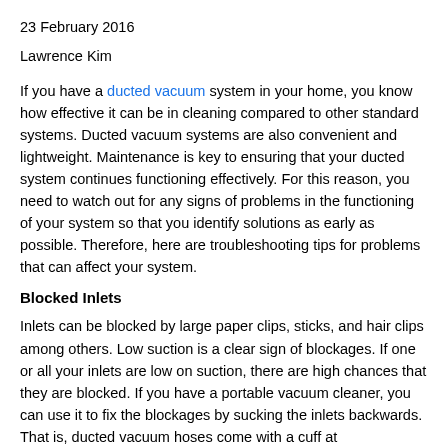23 February 2016
Lawrence Kim
If you have a ducted vacuum system in your home, you know how effective it can be in cleaning compared to other standard systems. Ducted vacuum systems are also convenient and lightweight. Maintenance is key to ensuring that your ducted system continues functioning effectively. For this reason, you need to watch out for any signs of problems in the functioning of your system so that you identify solutions as early as possible. Therefore, here are troubleshooting tips for problems that can affect your system.
Blocked Inlets
Inlets can be blocked by large paper clips, sticks, and hair clips among others. Low suction is a clear sign of blockages. If one or all your inlets are low on suction, there are high chances that they are blocked. If you have a portable vacuum cleaner, you can use it to fix the blockages by sucking the inlets backwards. That is, ducted vacuum hoses come with a cuff at